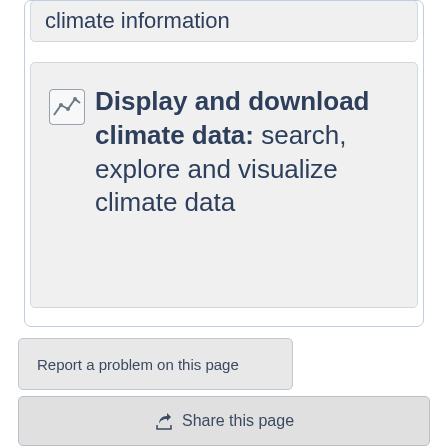climate information
Display and download climate data: search, explore and visualize climate data
Report a problem on this page
Share this page